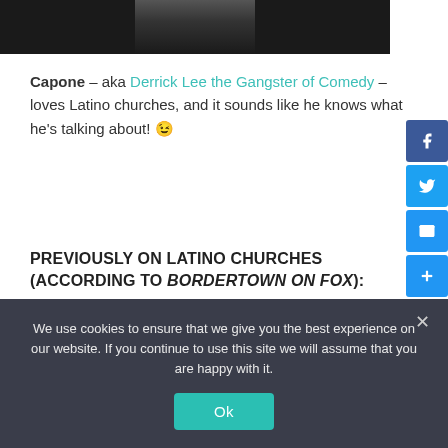[Figure (photo): Dark photograph of a person, upper body visible, dark background]
Capone – aka Derrick Lee the Gangster of Comedy – loves Latino churches, and it sounds like he knows what he's talking about! 😉
PREVIOUSLY ON LATINO CHURCHES (ACCORDING TO BORDERTOWN ON FOX):
We use cookies to ensure that we give you the best experience on our website. If you continue to use this site we will assume that you are happy with it.